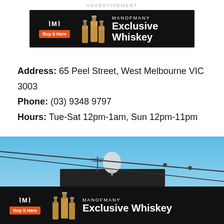ADVERTISEMENT
[Figure (other): Man of Many Exclusive Whiskey advertisement banner with logo, whiskey bottles, orange Buy It Here button on black background]
Address: 65 Peel Street, West Melbourne VIC 3003
Phone: (03) 9348 9797
Hours: Tue-Sat 12pm-1am, Sun 12pm-11pm
[Figure (photo): Photo of a rooftop against a blue sky with satellite dish, TV antenna, and overhead cables]
[Figure (other): Man of Many Exclusive Whiskey advertisement banner (second instance) with logo, whiskey bottles, orange Buy It Here button on black background]